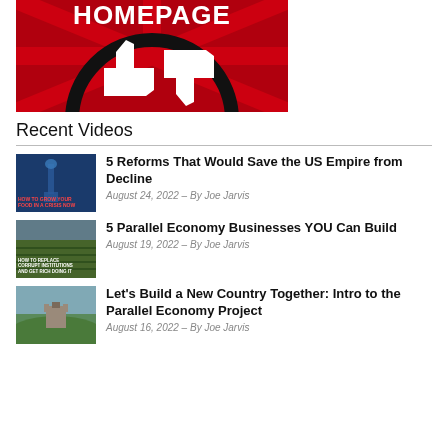[Figure (screenshot): Red background banner image with 'HOMEPAGE' text and thumbs up/thumbs down icons]
Recent Videos
[Figure (photo): Thumbnail for '5 Reforms That Would Save the US Empire from Decline' - Statue of Liberty image with text overlay]
5 Reforms That Would Save the US Empire from Decline
August 24, 2022 – By Joe Jarvis
[Figure (photo): Thumbnail for '5 Parallel Economy Businesses YOU Can Build' - vineyard/fields image with text overlay]
5 Parallel Economy Businesses YOU Can Build
August 19, 2022 – By Joe Jarvis
[Figure (photo): Thumbnail for 'Let's Build a New Country Together' - castle/hillside image]
Let's Build a New Country Together: Intro to the Parallel Economy Project
August 16, 2022 – By Joe Jarvis